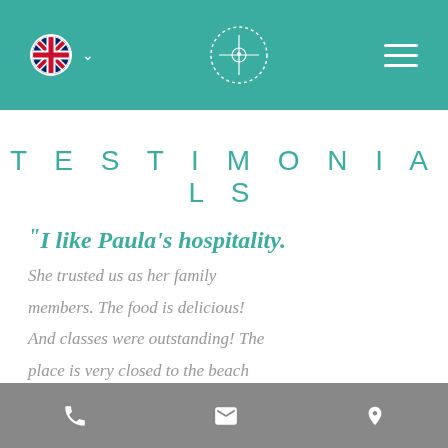[Figure (screenshot): Website header bar in teal with UK flag, circular logo, and hamburger menu]
TESTIMONIALS
"I like Paula's hospitality. She trusted us as her family members. The food is delicious! And classes were outstanding! The place is very closed to the beach
[Figure (screenshot): Mobile footer bar in gray with phone, email, and location icons]